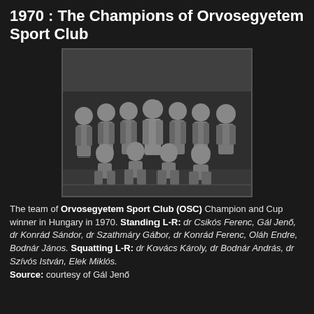1970 : The Champions of Orvosegyetem Sport Club
[Figure (photo): Black and white team photo of Orvosegyetem Sport Club swimmers in 1970. Two rows: standing men in back row and squatting men in front row, all in swimwear, posed at an indoor pool facility.]
The team of Orvosegyetem Sport Club (OSC) Champion and Cup winner in Hungary in 1970. Standing L-R: dr Csikós Ferenc, Gál Jenő, dr Konrád Sándor, dr Szathmáry Gábor, dr Konrád Ferenc, Oláh Endre, Bodnár János. Squatting L-R: dr Kovács Károly, dr Bodnár András, dr Szívós István, Elek Miklós. Source: courtesy of Gál Jenő